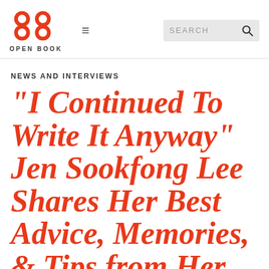[Figure (logo): Open Book logo — two red circular letter-o shapes side by side with text OPEN BOOK below]
NEWS AND INTERVIEWS
"I Continued To Write It Anyway" Jen Sookfong Lee Shares Her Best Advice, Memories, & Tips from Her Iconic